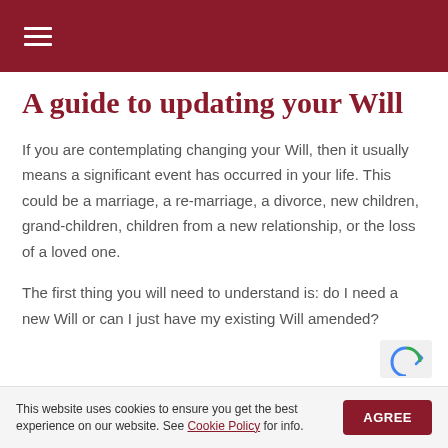≡ (hamburger menu icon)
A guide to updating your Will
If you are contemplating changing your Will, then it usually means a significant event has occurred in your life. This could be a marriage, a re-marriage, a divorce, new children, grand-children, children from a new relationship, or the loss of a loved one.
The first thing you will need to understand is: do I need a new Will or can I just have my existing Will amended?
This website uses cookies to ensure you get the best experience on our website. See Cookie Policy for info.  AGREE